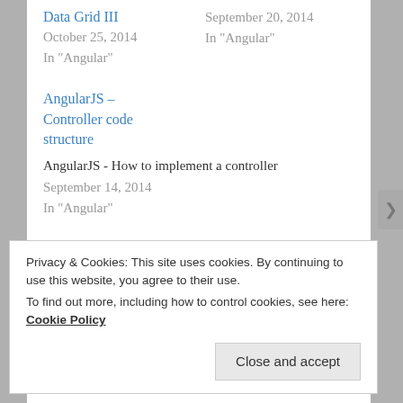Data Grid III
October 25, 2014
In "Angular"
September 20, 2014
In "Angular"
AngularJS – Controller code structure
AngularJS - How to implement a controller
September 14, 2014
In "Angular"
This entry was posted in Angular and tagged .NET, Angular, CRUD, REST, Toastr, WebAPI by Juan Carlos Sánchez. Bookmark the permalink.
Privacy & Cookies: This site uses cookies. By continuing to use this website, you agree to their use.
To find out more, including how to control cookies, see here: Cookie Policy